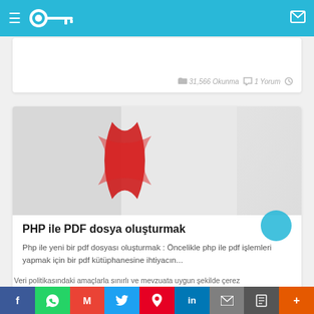Navigation bar with hamburger menu, key logo, and mail icon
31,566 Okunma  1 Yorum
[Figure (photo): Blurred image with red crossed ribbon (Adobe Acrobat logo style) on light background]
PHP ile PDF dosya oluşturmak
Php ile yeni bir pdf dosyası oluşturmak : Öncelikle php ile pdf işlemleri yapmak için bir pdf kütüphanesine ihtiyacın...
Veri politikasındaki amaçlarla sınırlı ve mevzuata uygun şekilde çerez
f  WhatsApp  M  Twitter  Pinterest  in  Mail  Print  More